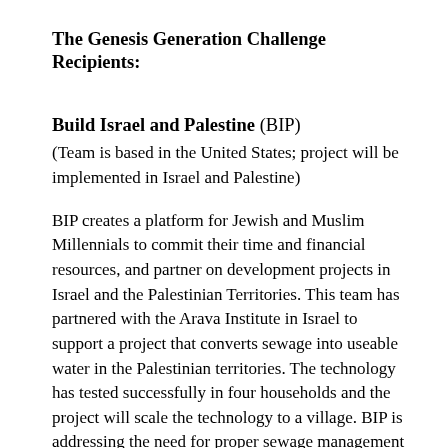The Genesis Generation Challenge Recipients:
Build Israel and Palestine (BIP)
(Team is based in the United States; project will be implemented in Israel and Palestine)
BIP creates a platform for Jewish and Muslim Millennials to commit their time and financial resources, and partner on development projects in Israel and the Palestinian Territories. This team has partnered with the Arava Institute in Israel to support a project that converts sewage into useable water in the Palestinian territories. The technology has tested successfully in four households and the project will scale the technology to a village. BIP is addressing the need for proper sewage management in Palestinian communities